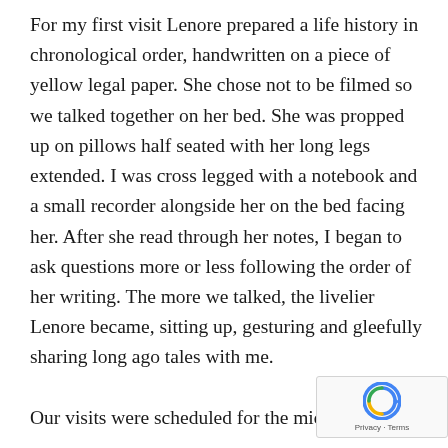For my first visit Lenore prepared a life history in chronological order, handwritten on a piece of yellow legal paper. She chose not to be filmed so we talked together on her bed. She was propped up on pillows half seated with her long legs extended. I was cross legged with a notebook and a small recorder alongside her on the bed facing her. After she read through her notes, I began to ask questions more or less following the order of her writing. The more we talked, the livelier Lenore became, sitting up, gesturing and gleefully sharing long ago tales with me.

Our visits were scheduled for the middle of the d